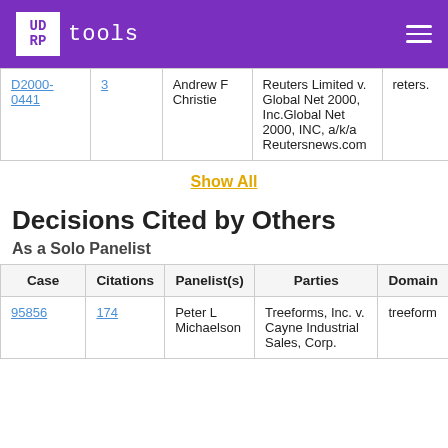UDRP tools
| Case | Citations | Panelist(s) | Parties | Domain |
| --- | --- | --- | --- | --- |
| D2000-0441 | 3 | Andrew F Christie | Reuters Limited v. Global Net 2000, Inc.Global Net 2000, INC, a/k/a Reutersnews.com | reters. |
Show All
Decisions Cited by Others
As a Solo Panelist
| Case | Citations | Panelist(s) | Parties | Domain |
| --- | --- | --- | --- | --- |
| 95856 | 174 | Peter L Michaelson | Treeforms, Inc. v. Cayne Industrial Sales, Corp. | treeform |